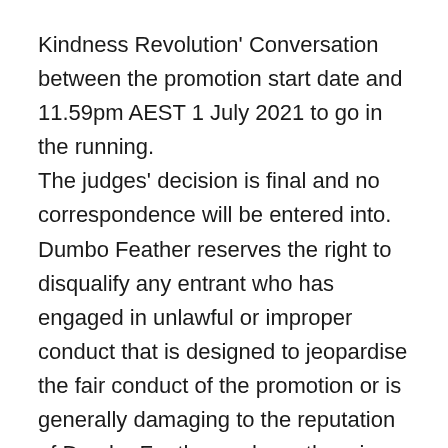Kindness Revolution' Conversation between the promotion start date and 11.59pm AEST 1 July 2021 to go in the running. The judges' decision is final and no correspondence will be entered into. Dumbo Feather reserves the right to disqualify any entrant who has engaged in unlawful or improper conduct that is designed to jeopardise the fair conduct of the promotion or is generally damaging to the reputation of Dumbo Feather, or has otherwise breached these conditions of entry. Dumbo Feather may determine, in its sole discretion, if an entry is suitable and may disqualify any entrant who submits content it deems to be objectionable or offensive (even though such content might not